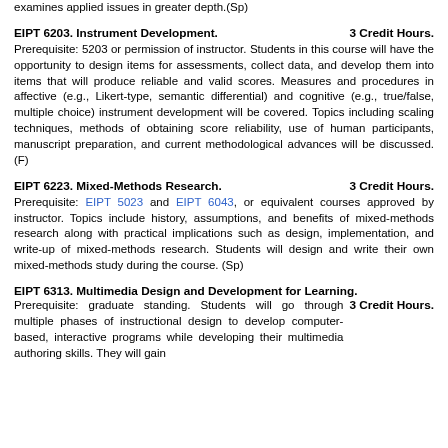examines applied issues in greater depth.(Sp)
EIPT 6203. Instrument Development.
3 Credit Hours.
Prerequisite: 5203 or permission of instructor. Students in this course will have the opportunity to design items for assessments, collect data, and develop them into items that will produce reliable and valid scores. Measures and procedures in affective (e.g., Likert-type, semantic differential) and cognitive (e.g., true/false, multiple choice) instrument development will be covered. Topics including scaling techniques, methods of obtaining score reliability, use of human participants, manuscript preparation, and current methodological advances will be discussed. (F)
EIPT 6223. Mixed-Methods Research.
3 Credit Hours.
Prerequisite: EIPT 5023 and EIPT 6043, or equivalent courses approved by instructor. Topics include history, assumptions, and benefits of mixed-methods research along with practical implications such as design, implementation, and write-up of mixed-methods research. Students will design and write their own mixed-methods study during the course. (Sp)
EIPT 6313. Multimedia Design and Development for Learning.
3 Credit Hours.
Prerequisite: graduate standing. Students will go through multiple phases of instructional design to develop computer-based, interactive programs while developing their multimedia authoring skills. They will gain